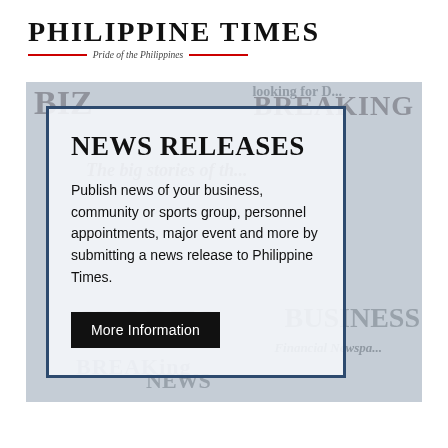PHILIPPINE TIMES
Pride of the Philippines
[Figure (other): Newspaper collage background image with text overlays including BREAKING, The big stories, BIZ, SPORTS, BUSINESS, NEWS, Financial Newspaper headlines in muted blue-grey tones. In the foreground, a card with dark blue border on a semi-transparent white background contains the News Releases promotional content.]
NEWS RELEASES
Publish news of your business, community or sports group, personnel appointments, major event and more by submitting a news release to Philippine Times.
More Information